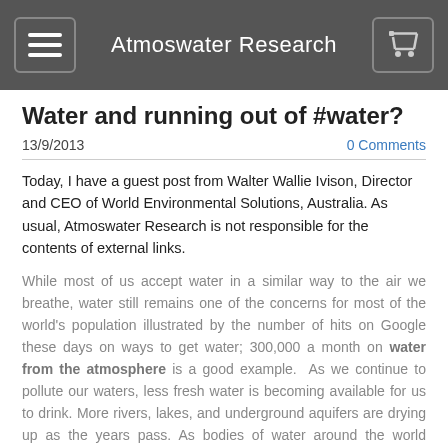Atmoswater Research
Water and running out of #water?
13/9/2013
0 Comments
Today, I have a guest post from Walter Wallie Ivison, Director and CEO of World Environmental Solutions, Australia. As usual, Atmoswater Research is not responsible for the contents of external links.
While most of us accept water in a similar way to the air we breathe, water still remains one of the concerns for most of the world's population illustrated by the number of hits on Google these days on ways to get water; 300,000 a month on water from the atmosphere is a good example.  As we continue to pollute our waters, less fresh water is becoming available for us to drink. More rivers, lakes, and underground aquifers are drying up as the years pass. As bodies of water around the world continue to dry up, we're seeing more drought conditions spread. There are dust storms in places which have never experienced them until